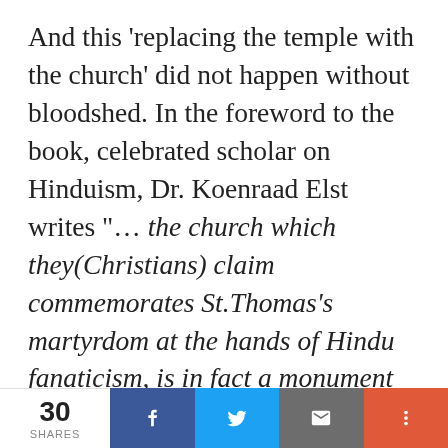And this 'replacing the temple with the church' did not happen without bloodshed. In the foreword to the book, celebrated scholar on Hinduism, Dr. Koenraad Elst writes "… the church which they(Christians) claim commemorates St.Thomas's martyrdom at the hands of Hindu fanaticism, is in fact a monument of Hindu martyrdom at the hands of Christian fanaticism. It is a
30 SHARES | Facebook | Twitter | Email | More